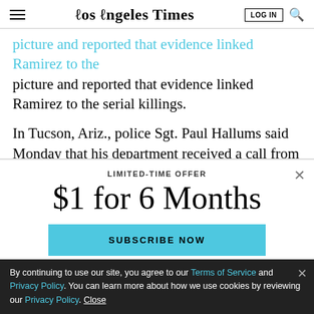Los Angeles Times
picture and reported that evidence linked Ramirez to the serial killings.
In Tucson, Ariz., police Sgt. Paul Hallums said Monday that his department received a call from Los Angeles
[Figure (screenshot): Subscription modal overlay with 'LIMITED-TIME OFFER', '$1 for 6 Months' heading, and 'SUBSCRIBE NOW' button in light blue]
By continuing to use our site, you agree to our Terms of Service and Privacy Policy. You can learn more about how we use cookies by reviewing our Privacy Policy. Close